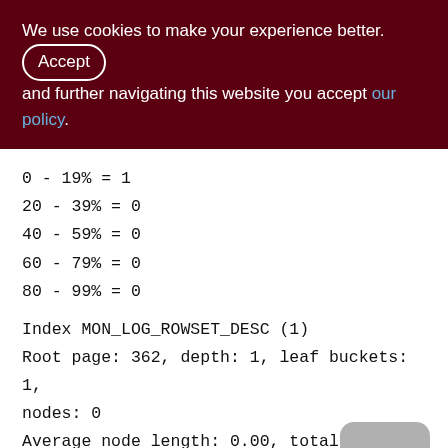We use cookies to make your experience better. By accepting and further navigating this website you accept our policy.
0 - 19% = 1
20 - 39% = 0
40 - 59% = 0
60 - 79% = 0
80 - 99% = 0
Index MON_LOG_ROWSET_DESC (1)
Root page: 362, depth: 1, leaf buckets: 1,
nodes: 0
Average node length: 0.00, total dup:,
max dup: 0
Average key length: 0.00, compression